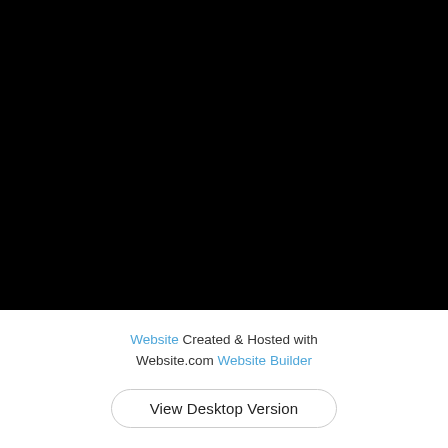[Figure (other): Large black rectangle occupying the top portion of the page, likely a screenshot or video placeholder area.]
Website Created & Hosted with Website.com Website Builder
View Desktop Version